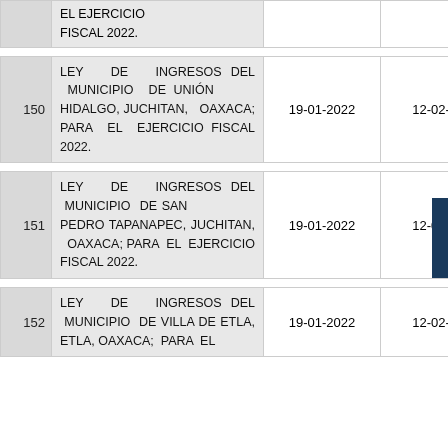| # | Ley | Fecha 1 | Fecha 2 |
| --- | --- | --- | --- |
|  | EL EJERCICIO FISCAL 2022. |  |  |
| 150 | LEY DE INGRESOS DEL MUNICIPIO DE UNIÓN HIDALGO, JUCHITAN, OAXACA; PARA EL EJERCICIO FISCAL 2022. | 19-01-2022 | 12-02-2022 |
| 151 | LEY DE INGRESOS DEL MUNICIPIO DE SAN PEDRO TAPANAPEC, JUCHITAN, OAXACA; PARA EL EJERCICIO FISCAL 2022. | 19-01-2022 | 12-02-2022 |
| 152 | LEY DE INGRESOS DEL MUNICIPIO DE VILLA DE ETLA, ETLA, OAXACA; PARA EL | 19-01-2022 | 12-02-2022 |